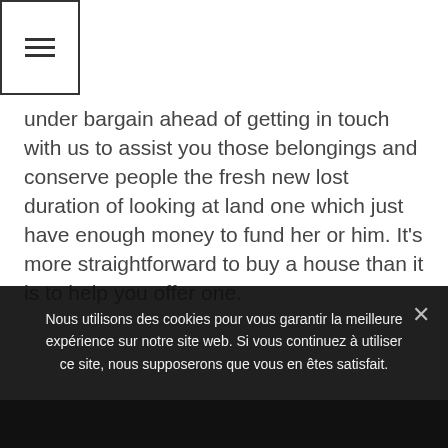[Figure (other): Hamburger menu icon inside a bordered square box]
under bargain ahead of getting in touch with us to assist you those belongings and conserve people the fresh new lost duration of looking at land one which just have enough money to fund her or him. It's more straightforward to buy a house than it is to help you offer one.
[Figure (infographic): Row of social share buttons: Facebook (blue), Twitter (blue), LinkedIn (blue), Email (green), Print (orange), Share (orange)]
← Предложения и услуги игровой площадки
Nous utilisons des cookies pour vous garantir la meilleure expérience sur notre site web. Si vous continuez à utiliser ce site, nous supposerons que vous en êtes satisfait.